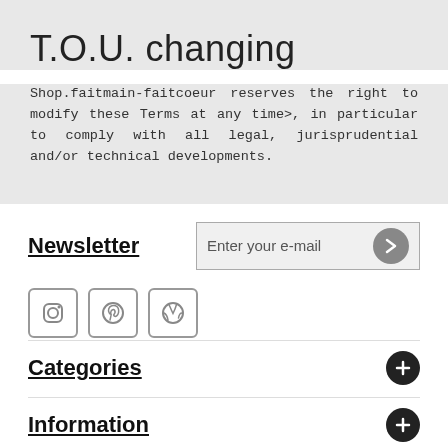T.O.U. changing
Shop.faitmain-faitcoeur reserves the right to modify these Terms at any time>, in particular to comply with all legal, jurisprudential and/or technical developments.
Newsletter
Categories
Information
My account